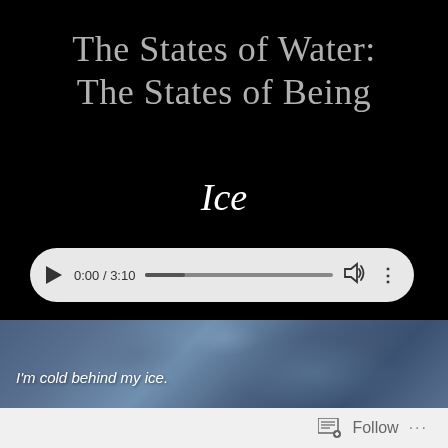The States of Water: The States of Being
Ice
[Figure (other): Audio player widget showing 0:00 / 3:10 with play button, progress bar, volume icon, and options icon]
[Figure (photo): Ice texture photograph in blue-grey tones with text overlay]
I'm cold behind my ice.
Follow ...